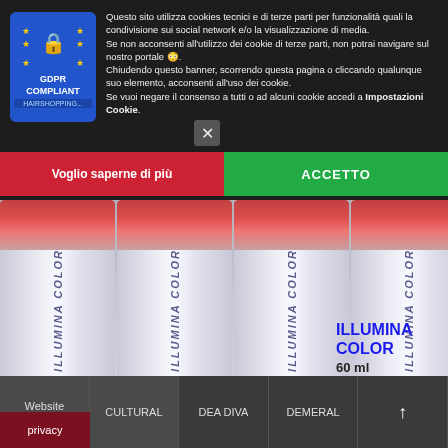[Figure (screenshot): GDPR Compliant badge with EU stars and padlock icon, blue background]
Questo sito utilizza cookies tecnici e di terze parti per funzionalità quali la condivisione sui social network e/o la visualizzazione di media. Se non acconsenti all'utilizzo dei cookie di terze parti, non potrai navigare sul nostro portale 😳. Chiudendo questo banner, scorrendo questa pagina o cliccando qualunque suo elemento, acconsenti all'uso dei cookie. Se vuoi negare il consenso a tutti o ad alcuni cookie accedi a Impostazioni Cookie.
Voglio saperne di più
ACCETTO
[Figure (photo): Five Wella Illumina Color 60ml hair dye tubes arranged side by side with reddish tops]
ILLUMINA COLOR
60 ml
5.99 €
Visitor: 273181
Website GLOBElife
CULTURAL
DEA DIVA
DEMERAL
privacy